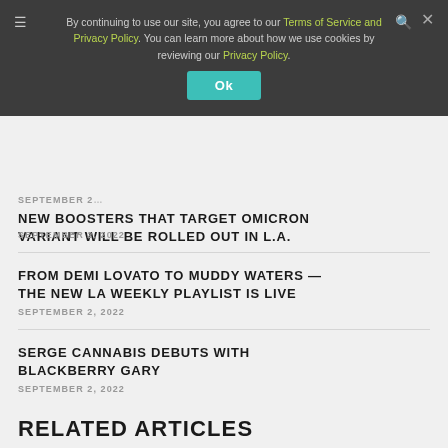By continuing to use our site, you agree to our Terms of Service and Privacy Policy. You can learn more about how we use cookies by reviewing our Privacy Policy. Ok
SEPTEMBER 2, 2022
NEW BOOSTERS THAT TARGET OMICRON VARIANT WILL BE ROLLED OUT IN L.A.
SEPTEMBER 2, 2022
FROM DEMI LOVATO TO MUDDY WATERS — THE NEW LA WEEKLY PLAYLIST IS LIVE
SEPTEMBER 2, 2022
SERGE CANNABIS DEBUTS WITH BLACKBERRY GARY
SEPTEMBER 2, 2022
RELATED ARTICLES